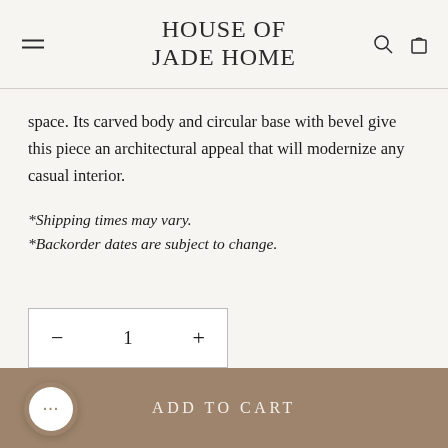HOUSE OF JADE HOME
space. Its carved body and circular base with bevel give this piece an architectural appeal that will modernize any casual interior.
*Shipping times may vary.
*Backorder dates are subject to change.
− 1 +
ADD TO CART